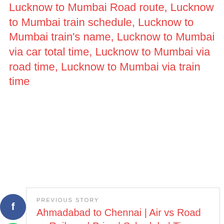Lucknow to Mumbai Road route, Lucknow to Mumbai train schedule, Lucknow to Mumbai train's name, Lucknow to Mumbai via car total time, Lucknow to Mumbai via road time, Lucknow to Mumbai via train time
[Figure (other): Social media share icons: Facebook (blue circle) and WhatsApp (green circle)]
PREVIOUS STORY
Ahmadabad to Chennai | Air vs Road vs Railway | Price | Schedule | Time
NEXT STORY
Ahmedabad to Bangalore | Air vs Road vs Railway | Price | Schedule | Time